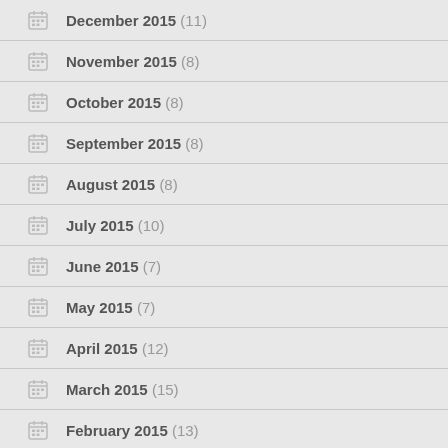December 2015 (11)
November 2015 (8)
October 2015 (8)
September 2015 (8)
August 2015 (8)
July 2015 (10)
June 2015 (7)
May 2015 (7)
April 2015 (12)
March 2015 (15)
February 2015 (13)